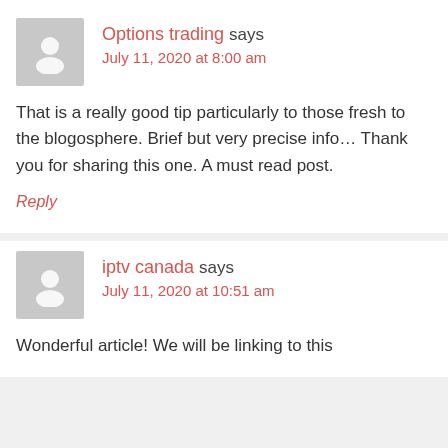Options trading says
July 11, 2020 at 8:00 am
That is a really good tip particularly to those fresh to the blogosphere. Brief but very precise info… Thank you for sharing this one. A must read post.
Reply
iptv canada says
July 11, 2020 at 10:51 am
Wonderful article! We will be linking to this